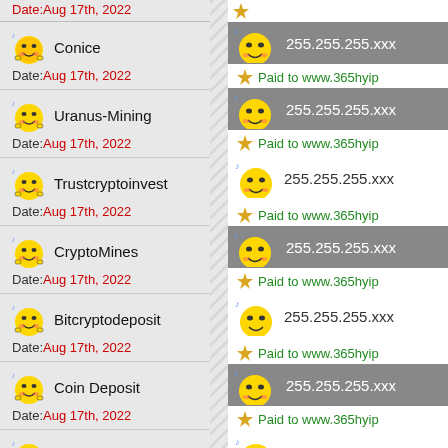Conice
Date: Aug 17th, 2022
Uranus-Mining
Date: Aug 17th, 2022
Trustcryptoinvest
Date: Aug 17th, 2022
CryptoMines
Date: Aug 17th, 2022
Bitcryptodeposit
Date: Aug 17th, 2022
Coin Deposit
Date: Aug 17th, 2022
DepositCoin
Date: Aug 17th, 2022
Paid to www.365hyip
255.255.255.xxx
Paid to www.365hyip
255.255.255.xxx
Paid to www.365hyip
255.255.255.xxx
Paid to www.365hyip
255.255.255.xxx
Paid to www.365hyip
255.255.255.xxx
Paid to www.365hyip
255.255.255.xxx
Paid to www.365hyip
255.255.255.xxx
255.255.255.xxx